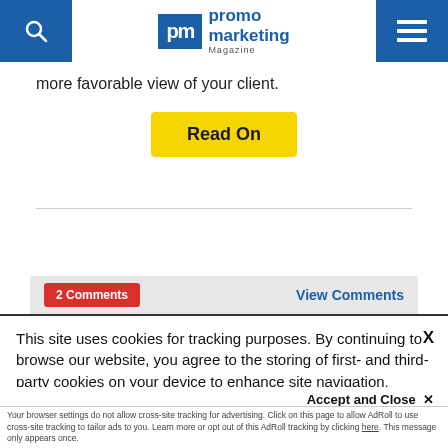Promo Marketing Magazine
more favorable view of your client.
Read On
2 Comments
View Comments
This site uses cookies for tracking purposes. By continuing to browse our website, you agree to the storing of first- and third-party cookies on your device to enhance site navigation, analyze site usage, and assist in our marketing and
Accept and Close ✕
Your browser settings do not allow cross-site tracking for advertising. Click on this page to allow AdRoll to use cross-site tracking to tailor ads to you. Learn more or opt out of this AdRoll tracking by clicking here. This message only appears once.